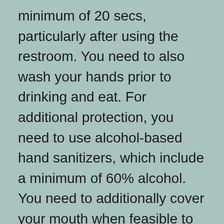minimum of 20 secs, particularly after using the restroom. You need to also wash your hands prior to drinking and eat. For additional protection, you need to use alcohol-based hand sanitizers, which include a minimum of 60% alcohol. You need to additionally cover your mouth when feasible to avoid the spread of the disease.
In order to take a trip abroad, it is suggested to do some research. Some nations are safe to visit, yet there are particular preventative measures to take. However, you must beware when taking a trip. Constantly check the